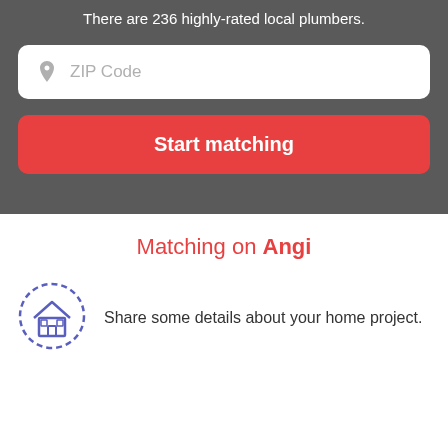There are 236 highly-rated local plumbers.
[Figure (infographic): ZIP Code input field with location pin icon]
[Figure (infographic): Start matching red button]
Matching on Angi
Share some details about your home project.